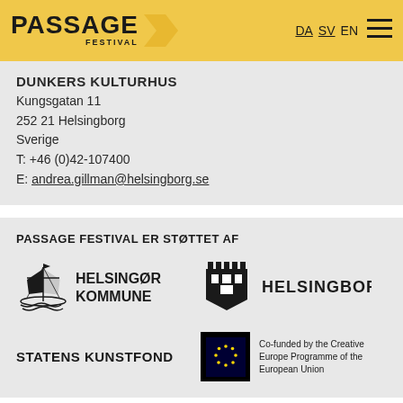PASSAGE FESTIVAL — DA SV EN
DUNKERS KULTURHUS
Kungsgatan 11
252 21 Helsingborg
Sverige
T: +46 (0)42-107400
E: andrea.gillman@helsingborg.se
PASSAGE FESTIVAL ER STØTTET AF
[Figure (logo): Helsingør Kommune logo with ship crest]
[Figure (logo): Helsingborg logo with castle crest]
[Figure (logo): Statens Kunstfond logo]
[Figure (logo): Co-funded by the Creative Europe Programme of the European Union logo with EU flag]